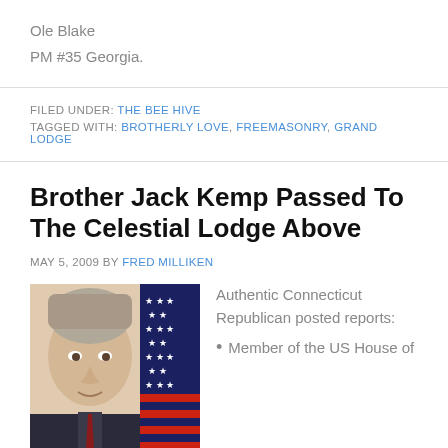Ole Blake
PM #35 Georgia.
FILED UNDER: THE BEE HIVE
TAGGED WITH: BROTHERLY LOVE, FREEMASONRY, GRAND LODGE
Brother Jack Kemp Passed To The Celestial Lodge Above
MAY 5, 2009 BY FRED MILLIKEN
[Figure (photo): Portrait photo of Jack Kemp with American flag in background]
Authentic Connecticut Republican posted reports:
Member of the US House of